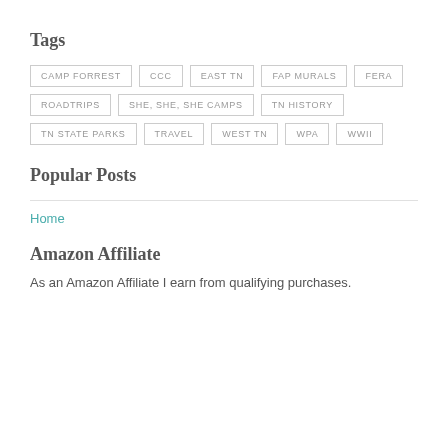Tags
CAMP FORREST
CCC
EAST TN
FAP MURALS
FERA
ROADTRIPS
SHE, SHE, SHE CAMPS
TN HISTORY
TN STATE PARKS
TRAVEL
WEST TN
WPA
WWII
Popular Posts
Home
Amazon Affiliate
As an Amazon Affiliate I earn from qualifying purchases.